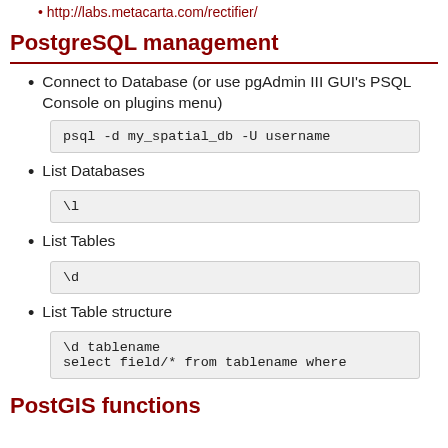http://labs.metacarta.com/rectifier/
PostgreSQL management
Connect to Database (or use pgAdmin III GUI's PSQL Console on plugins menu)
psql -d my_spatial_db -U username
List Databases
\l
List Tables
\d
List Table structure
\d tablename
select field/* from tablename where
PostGIS functions